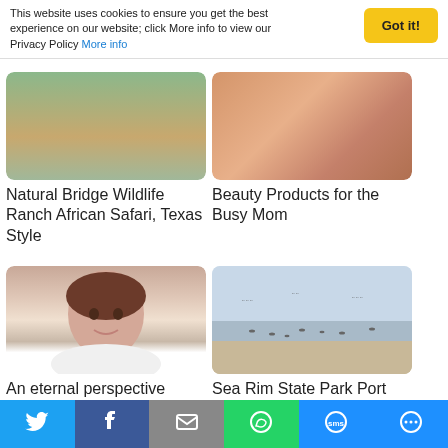This website uses cookies to ensure you get the best experience on our website; click More info to view our Privacy Policy More info
[Figure (photo): Thumbnail image for Natural Bridge Wildlife Ranch article - green landscape]
Natural Bridge Wildlife Ranch African Safari, Texas Style
[Figure (photo): Thumbnail image for Beauty Products for the Busy Mom article - close up of person]
Beauty Products for the Busy Mom
[Figure (photo): Portrait photo of a woman with brown hair in white shirt]
An eternal perspective
[Figure (photo): Photo of sea beach with birds - Sea Rim State Park]
Sea Rim State Park Port Arthur, Texas
[Figure (photo): Partial thumbnail image at bottom left]
[Figure (photo): Partial thumbnail image at bottom right - brown/green tones]